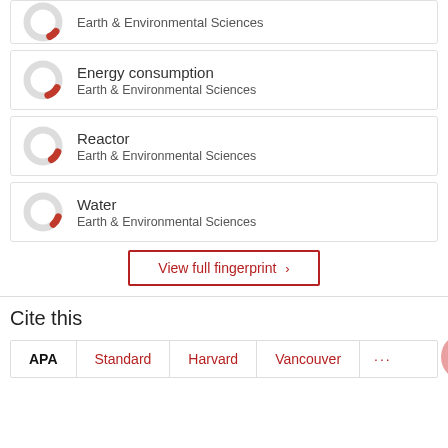Earth & Environmental Sciences (clipped top item)
Energy consumption – Earth & Environmental Sciences
Reactor – Earth & Environmental Sciences
Water – Earth & Environmental Sciences
View full fingerprint ›
Cite this
APA | Standard | Harvard | Vancouver | ...